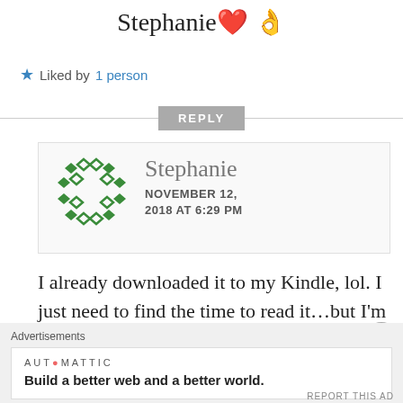Stephanie ❤️ 👌
★ Liked by 1 person
REPLY
[Figure (illustration): Green diamond-pattern avatar icon for user Stephanie]
Stephanie
NOVEMBER 12, 2018 AT 6:29 PM
I already downloaded it to my Kindle, lol. I just need to find the time to read it…but I'm sure that I will! Thanks
Advertisements
AUTOMATTIC
Build a better web and a better world.
REPORT THIS AD